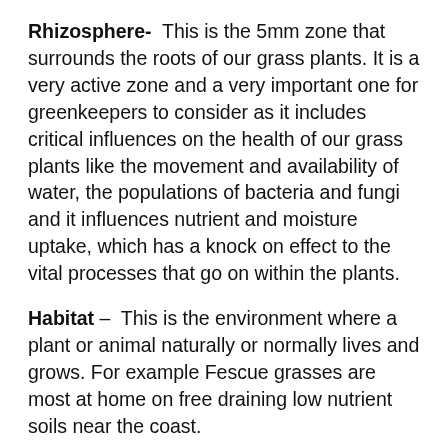Rhizosphere- This is the 5mm zone that surrounds the roots of our grass plants. It is a very active zone and a very important one for greenkeepers to consider as it includes critical influences on the health of our grass plants like the movement and availability of water, the populations of bacteria and fungi and it influences nutrient and moisture uptake, which has a knock on effect to the vital processes that go on within the plants.
Habitat – This is the environment where a plant or animal naturally or normally lives and grows. For example Fescue grasses are most at home on free draining low nutrient soils near the coast.